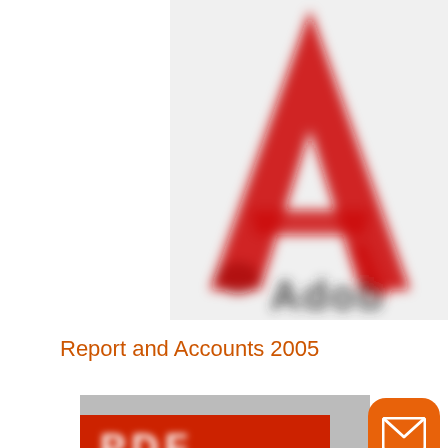[Figure (logo): Blurred Adobe Acrobat logo — red stylized A icon above partially visible 'Adobe' text in dark grey, on a light grey/white background, cropped to upper-right portion of page]
Report and Accounts 2005
[Figure (logo): Blurred PDF icon — red rectangle with white 'PDF' letters, partially visible at bottom of page, overlapping a grey background element]
[Figure (other): Orange rounded square button with white envelope/mail icon]